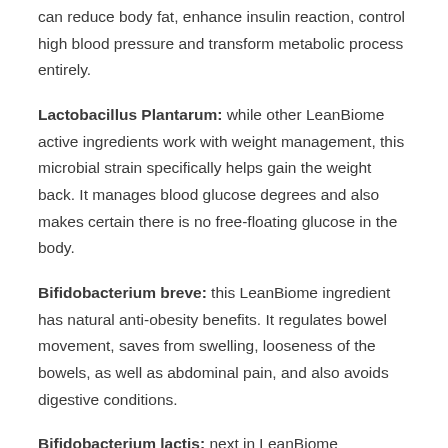can reduce body fat, enhance insulin reaction, control high blood pressure and transform metabolic process entirely.
Lactobacillus Plantarum: while other LeanBiome active ingredients work with weight management, this microbial strain specifically helps gain the weight back. It manages blood glucose degrees and also makes certain there is no free-floating glucose in the body.
Bifidobacterium breve: this LeanBiome ingredient has natural anti-obesity benefits. It regulates bowel movement, saves from swelling, looseness of the bowels, as well as abdominal pain, and also avoids digestive conditions.
Bifidobacterium lactis: next in LeanBiome components is Bifidobacterium lactis, which reduces tummy fat. It likewise saves from digestion problems, particularly in younger grownups.
Lactobacillus Rhamnosus: this pressure advertises weight